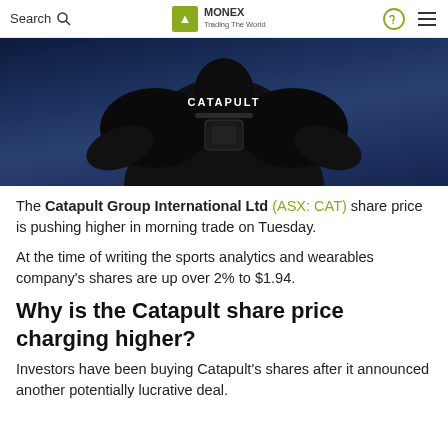Search | MONEX Trading The World
[Figure (photo): Athlete wearing a black Catapult sports performance vest/jersey, photographed from behind/side, dark blue background with 'CATAPULT' text visible on the garment]
The Catapult Group International Ltd (ASX: CAT) share price is pushing higher in morning trade on Tuesday.
At the time of writing the sports analytics and wearables company's shares are up over 2% to $1.94.
Why is the Catapult share price charging higher?
Investors have been buying Catapult's shares after it announced another potentially lucrative deal.